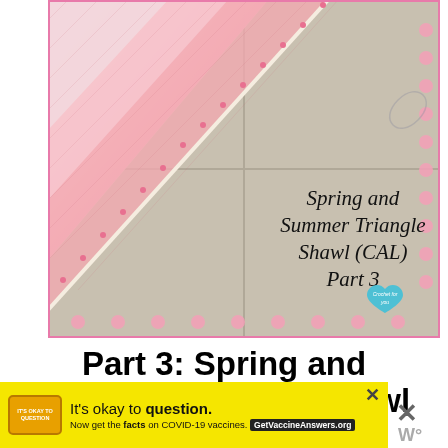[Figure (photo): Photo of a pink and white crocheted triangle shawl laid on a tiled surface. Overlaid text reads 'Spring and Summer Triangle Shawl (CAL) Part 3' in italic serif font. A teal heart-shaped logo with 'Crochet for you' is in the lower right. Pink polka dots decorate the right side and bottom border.]
Part 3: Spring and Summer Triangle Shawl (CAL) 2015
[Figure (other): Yellow advertisement banner reading 'It's okay to question. Now get the facts on COVID-19 vaccines. GetVaccineAnswers.org' with an orange badge and close button.]